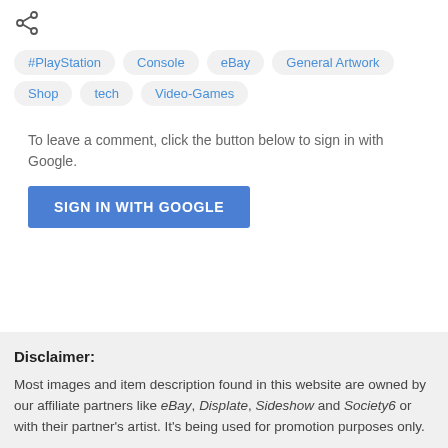[Figure (other): Share icon (less-than style share symbol)]
#PlayStation
Console
eBay
General Artwork
Shop
tech
Video-Games
To leave a comment, click the button below to sign in with Google.
SIGN IN WITH GOOGLE
Disclaimer:
Most images and item description found in this website are owned by our affiliate partners like eBay, Displate, Sideshow and Society6 or with their partner's artist. It's being used for promotion purposes only.